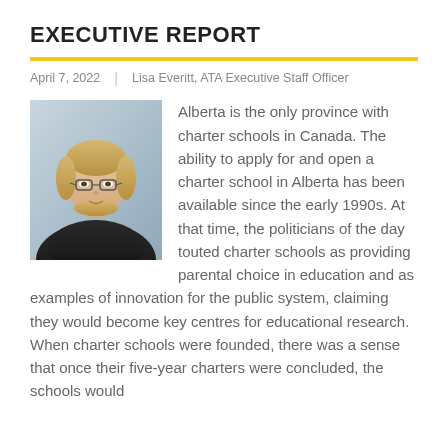EXECUTIVE REPORT
April 7, 2022 | Lisa Everitt, ATA Executive Staff Officer
[Figure (photo): Headshot photo of Lisa Everitt, a woman with blonde hair and glasses, wearing a dark jacket, against a light blue background.]
Alberta is the only province with charter schools in Canada. The ability to apply for and open a charter school in Alberta has been available since the early 1990s. At that time, the politicians of the day touted charter schools as providing parental choice in education and as examples of innovation for the public system, claiming they would become key centres for educational research. When charter schools were founded, there was a sense that once their five-year charters were concluded, the schools would